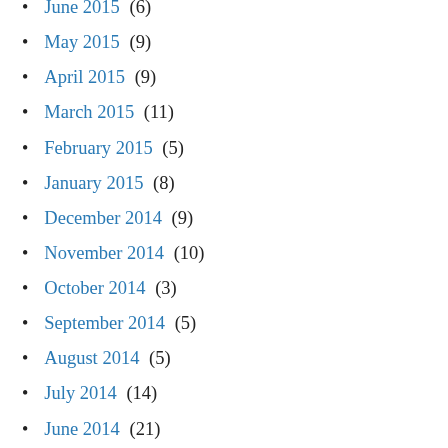June 2015 (6)
May 2015 (9)
April 2015 (9)
March 2015 (11)
February 2015 (5)
January 2015 (8)
December 2014 (9)
November 2014 (10)
October 2014 (3)
September 2014 (5)
August 2014 (5)
July 2014 (14)
June 2014 (21)
May 2014 (10)
April 2014 (14)
March 2014 (15)
February 2014 (11)